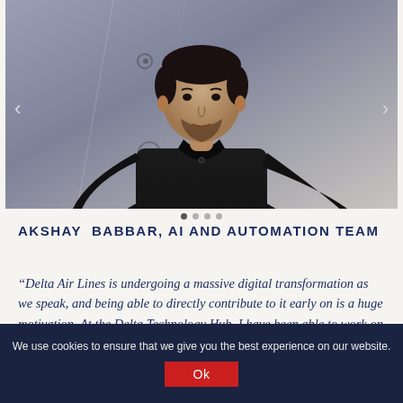[Figure (photo): Photo of Akshay Babbar, a young man in a black long-sleeve polo shirt, standing in front of a blurred purple/grey background with some geometric shapes. He has dark hair and a beard.]
AKSHAY BABBAR, AI AND AUTOMATION TEAM
“Delta Air Lines is undergoing a massive digital transformation as we speak, and being able to directly contribute to it early on is a huge motivation. At the Delta Technology Hub, I have been able to work on
We use cookies to ensure that we give you the best experience on our website. Ok